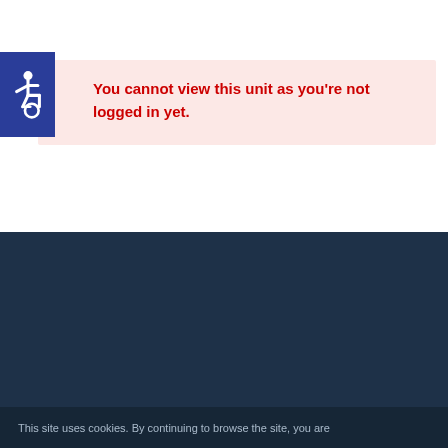[Figure (logo): Blue square with white wheelchair accessibility icon]
You cannot view this unit as you're not logged in yet.
This site uses cookies. By continuing to browse the site, you are